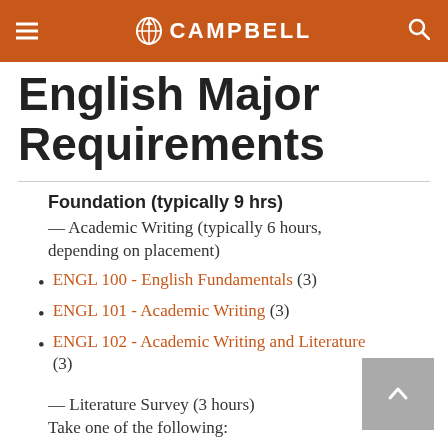CAMPBELL
English Major Requirements
Foundation (typically 9 hrs)
— Academic Writing (typically 6 hours, depending on placement)
ENGL 100 - English Fundamentals (3)
ENGL 101 - Academic Writing (3)
ENGL 102 - Academic Writing and Literature (3)
— Literature Survey (3 hours)
Take one of the following:
ENGL 201 - British Literature I (3)